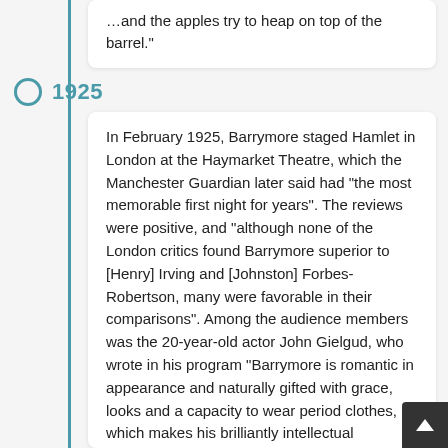…and the apples try to heap on top of the barrel."
1925
In February 1925, Barrymore staged Hamlet in London at the Haymarket Theatre, which the Manchester Guardian later said had "the most memorable first night for years". The reviews were positive, and "although none of the London critics found Barrymore superior to [Henry] Irving and [Johnston] Forbes-Robertson, many were favorable in their comparisons". Among the audience members was the 20-year-old actor John Gielgud, who wrote in his program "Barrymore is romantic in appearance and naturally gifted with grace, looks and a capacity to wear period clothes, which makes his brilliantly intellectual performance classical without being unduly severe, and he has tenderness, remoteness, and neurosis all placed with great delicacy and used with immense effectiveness and